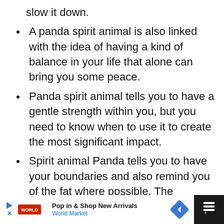slow it down.
A panda spirit animal is also linked with the idea of having a kind of balance in your life that alone can bring you some peace.
Panda spirit animal tells you to have a gentle strength within you, but you need to know when to use it to create the most significant impact.
Spirit animal Panda tells you to have your boundaries and also remind you of the fat where possible. The problem tends to be that we added do not know what they are all; we must allow people to walk all through them.
Pop in & Shop New Arrivals World Market